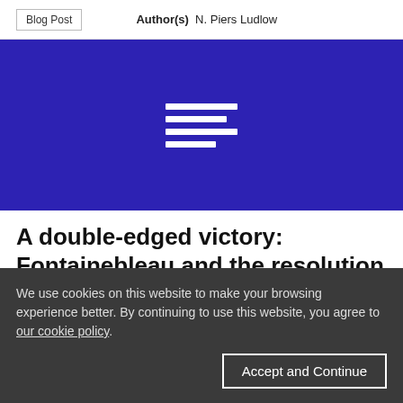Blog Post   Author(s)   N. Piers Ludlow
[Figure (logo): Blue banner with a white stacked lines / document icon in the center]
A double-edged victory: Fontainebleau and the resolution of the British budget problem, 1982-84
We use cookies on this website to make your browsing experience better. By continuing to use this website, you agree to our cookie policy.
Accept and Continue